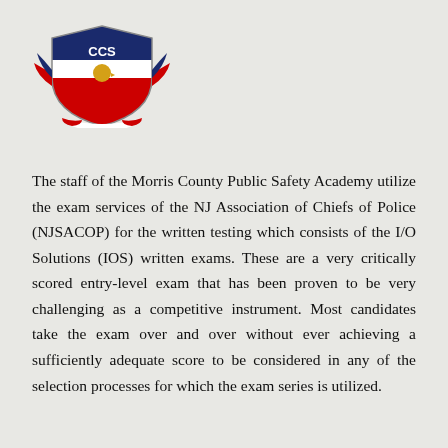[Figure (logo): CCS shield logo with eagle, red and blue wings/stripes, and gold eagle head, resembling a law enforcement or public safety emblem]
The staff of the Morris County Public Safety Academy utilize the exam services of the NJ Association of Chiefs of Police (NJSACOP) for the written testing which consists of the I/O Solutions (IOS) written exams. These are a very critically scored entry-level exam that has been proven to be very challenging as a competitive instrument. Most candidates take the exam over and over without ever achieving a sufficiently adequate score to be considered in any of the selection processes for which the exam series is utilized.